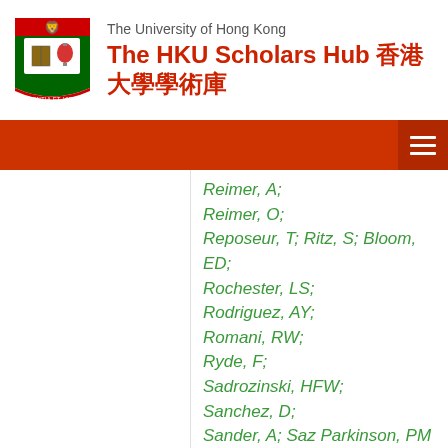The University of Hong Kong — The HKU Scholars Hub 香港大學學術庫
Reimer, A; Reimer, O; Reposeur, T; Ritz, S; Bloom, ED; Rochester, LS; Rodriguez, AY; Romani, RW; Ryde, F; Sadrozinski, HFW; Sanchez, D; Sander, A; Saz Parkinson, PM; Sgrò, C; Siskind, EJ; Bonamente, E; Smith, DA; Smith, PD; Spandre, G; Spinelli, D;